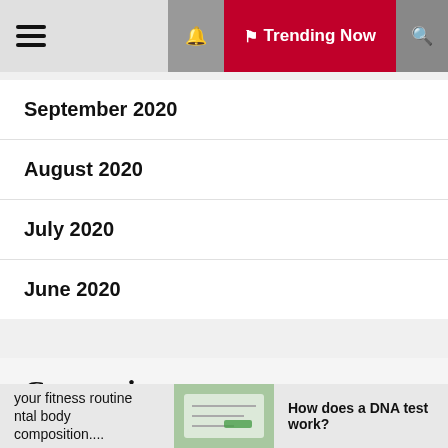Trending Now
September 2020
August 2020
July 2020
June 2020
Categories
Dentist
Fitness
your fitness routine ntal body composition.... How does a DNA test work?